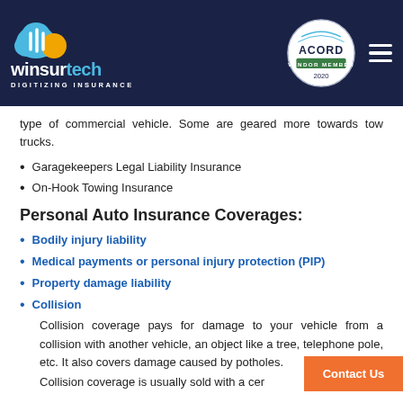winsurtech DIGITIZING INSURANCE | ACORD VENDOR MEMBER 2020
type of commercial vehicle. Some are geared more towards tow trucks.
Garagekeepers Legal Liability Insurance
On-Hook Towing Insurance
Personal Auto Insurance Coverages:
Bodily injury liability
Medical payments or personal injury protection (PIP)
Property damage liability
Collision
Collision coverage pays for damage to your vehicle from a collision with another vehicle, an object like a tree, telephone pole, etc. It also covers damage caused by potholes.
Collision coverage is usually sold with a cer...